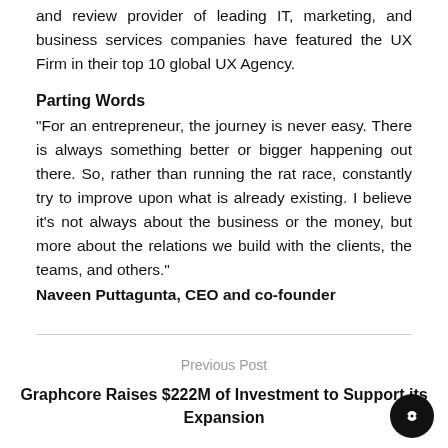and review provider of leading IT, marketing, and business services companies have featured the UX Firm in their top 10 global UX Agency.
Parting Words
“For an entrepreneur, the journey is never easy. There is always something better or bigger happening out there. So, rather than running the rat race, constantly try to improve upon what is already existing. I believe it’s not always about the business or the money, but more about the relations we build with the clients, the teams, and others.”
Naveen Puttagunta, CEO and co-founder
Previous Post
Graphcore Raises $222M of Investment to Support its Expansion